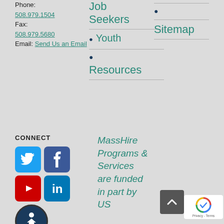Phone: 508.979.1504 Fax: 508.979.5680 Email: Send Us an Email
Job Seekers
Youth
Resources
Sitemap
CONNECT
[Figure (infographic): Social media icons: Twitter (blue bird), Facebook (dark blue f), YouTube (red play button), LinkedIn (blue in), and an accessibility icon (person in circle)]
MassHire Programs & Services are funded in part by US